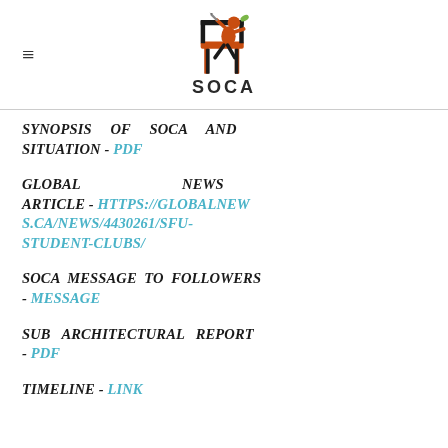[Figure (logo): SOCA logo with a figure sitting on a chair and the text SOCA below]
SYNOPSIS OF SOCA AND SITUATION - PDF
GLOBAL NEWS ARTICLE - HTTPS://GLOBALNEWS.CA/NEWS/4430261/SFU-STUDENT-CLUBS/
SOCA MESSAGE TO FOLLOWERS - MESSAGE
SUB ARCHITECTURAL REPORT - PDF
TIMELINE - LINK